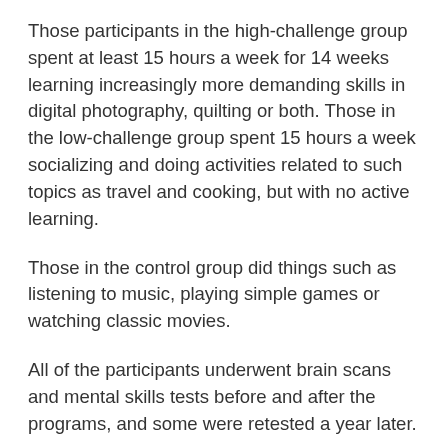Those participants in the high-challenge group spent at least 15 hours a week for 14 weeks learning increasingly more demanding skills in digital photography, quilting or both. Those in the low-challenge group spent 15 hours a week socializing and doing activities related to such topics as travel and cooking, but with no active learning.
Those in the control group did things such as listening to music, playing simple games or watching classic movies.
All of the participants underwent brain scans and mental skills tests before and after the programs, and some were retested a year later.
After 14 weeks, those in the high-challenge group showed better memory performance and could judge hard words more accurately than those in the other two